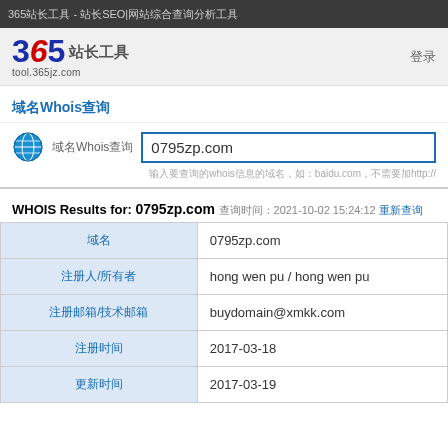365站长工具 - 站长SEO|网站综合查询分析工具
[Figure (logo): 365站长工具 logo with stylized 365 text and tool.365jz.com URL]
域名Whois查询
域名Whois查询  0795zp.com
输入要查询的whois信息的域名，如：baidu.com，不需要加http://
WHOIS Results for: 0795zp.com 查询时间：2021-10-02 15:24:12 重新查询
| 字段 | 值 |
| --- | --- |
| 域名 | 0795zp.com |
| 注册人/所有者 | hong wen pu / hong wen pu |
| 注册邮箱/技术邮箱 | buydomain@xmkk.com |
| 注册时间 | 2017-03-18 |
| 更新时间 | 2017-03-19 |